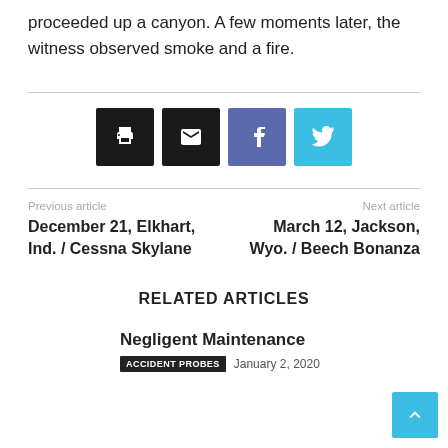proceeded up a canyon. A few moments later, the witness observed smoke and a fire.
[Figure (other): Social share buttons: print, email, Facebook, Twitter]
Previous article
December 21, Elkhart, Ind. / Cessna Skylane
Next article
March 12, Jackson, Wyo. / Beech Bonanza
RELATED ARTICLES
Negligent Maintenance
ACCIDENT PROBES   January 2, 2020